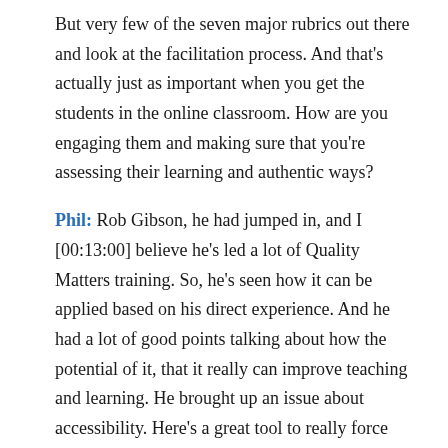But very few of the seven major rubrics out there and look at the facilitation process. And that's actually just as important when you get the students in the online classroom. How are you engaging them and making sure that you're assessing their learning and authentic ways?
Phil: Rob Gibson, he had jumped in, and I [00:13:00] believe he's led a lot of Quality Matters training. So, he's seen how it can be applied based on his direct experience. And he had a lot of good points talking about how the potential of it, that it really can improve teaching and learning. He brought up an issue about accessibility. Here's a great tool to really force people to deal with accessibility comprehensively through a course. And if you just